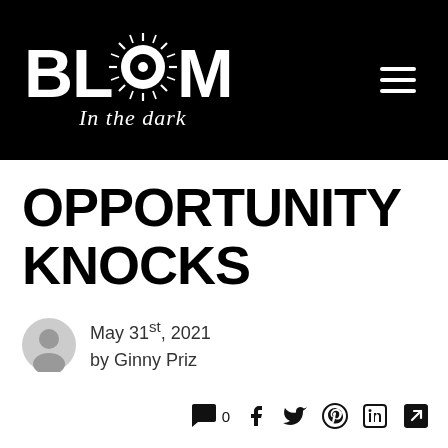[Figure (logo): Bloom In The Dark logo: white stylized text 'BLOOM' with a sunflower/starburst graphic replacing the two O letters, and 'In the dark' in script beneath, on black background. Hamburger menu icon (three white lines) on the right.]
OPPORTUNITY KNOCKS
May 31st, 2021
by Ginny Priz
0 (comments) f (Facebook) (Twitter) (Pinterest) in (LinkedIn) (share icon)